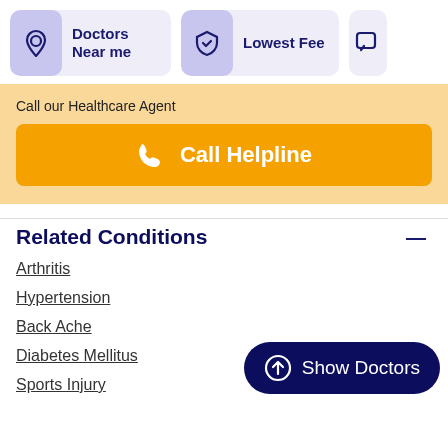[Figure (screenshot): Navigation bar with 'Doctors Near me' button (location pin icon), 'Lowest Fee' button (shield icon), and a partial third button (chat icon), all with purple/lavender backgrounds]
Call our Healthcare Agent
[Figure (infographic): Orange 'Call Helpline' button with phone icon]
Related Conditions
Arthritis
Hypertension
Back Ache
Diabetes Mellitus
Sports Injury
[Figure (infographic): Dark navy 'Show Doctors' button with up-arrow circle icon]